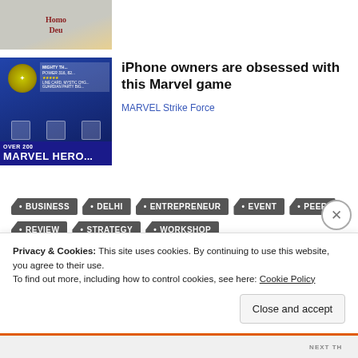[Figure (photo): Partial top image showing a person holding a book with text 'Homo Deu' visible, cut off at top]
[Figure (photo): Thumbnail for Marvel Strike Force game ad showing Thor character, text 'MIGHTY TH...', stars, 'OVER 200 MARVEL HERO...' at bottom]
iPhone owners are obsessed with this Marvel game
MARVEL Strike Force
BUSINESS
DELHI
ENTREPRENEUR
EVENT
PEER
REVIEW
STRATEGY
WORKSHOP
Privacy & Cookies: This site uses cookies. By continuing to use this website, you agree to their use.
To find out more, including how to control cookies, see here: Cookie Policy
Close and accept